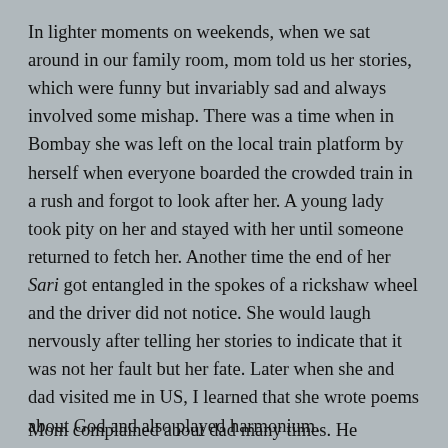In lighter moments on weekends, when we sat around in our family room, mom told us her stories, which were funny but invariably sad and always involved some mishap. There was a time when in Bombay she was left on the local train platform by herself when everyone boarded the crowded train in a rush and forgot to look after her. A young lady took pity on her and stayed with her until someone returned to fetch her. Another time the end of her Sari got entangled in the spokes of a rickshaw wheel and the driver did not notice. She would laugh nervously after telling her stories to indicate that it was not her fault but her fate. Later when she and dad visited me in US, I learned that she wrote poems about God and also played harmonium.
Mom complained about dad many times. He